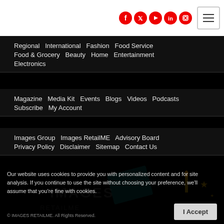[Figure (other): Social media icons (Facebook, Twitter, YouTube, LinkedIn, Instagram) in red circles, and a hamburger menu button on white top bar]
Regional  International  Fashion  Food Service  Food & Grocery  Beauty  Home  Entertainment  Electronics
Magazine  Media Kit  Events  Blogs  Videos  Podcasts  Subscribe  My Account
Images Group  Images RetailME  Advisory Board  Privacy Policy  Disclaimer  Sitemap  Contact Us
[Figure (logo): IMAGES RETAILME watermark logo in background]
Our website uses cookies to provide you with personalized content and for site analysis. If you continue to use the site without choosing your preference, we'll assume that you're fine with cookies.
© IMAGES RETAILME. All Rights Reserved.